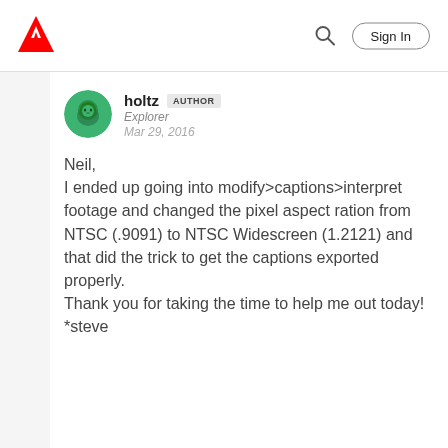Adobe — Sign In
holtz AUTHOR
Explorer
Mar 29, 2016
Neil,
I ended up going into modify>captions>interpret footage and changed the pixel aspect ration from NTSC (.9091) to NTSC Widescreen (1.2121) and that did the trick to get the captions exported properly.
Thank you for taking the time to help me out today!
*steve